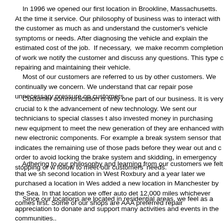In 1996 we opened our first location in Brookline, Massachusetts. At the time it service. Our philosophy of business was to interact with the customer as much as and understand the customer's vehicle symptoms or needs. After diagnosing the vehicle and explain the estimated cost of the job. If necessary, we make recomm completion of work we notify the customer and discuss any questions. This type c repairing and maintaining their vehicle.
Most of our customers are referred to us by other customers. We continually we concern. We understand that car repair pose unnecessary pressure on customers
Customer communication is only one part of our business. It is very crucial to k the advancement of new technology. We sent our technicians to special classes t also invested money in purchasing new equipment to meet the new generation of they are enhanced with new electronic components. For example a break system sensor that indicates the remaining use of those pads before they wear out and c order to avoid locking the brake system and skidding, in emergency stopping or w follow to meet our customers' needs.
Adhering to our philosophy and learning from our customers we felt that we sh second location in West Roxbury and a year later we purchased a location in Wes added a new location in Manchester by the Sea. In that location we offer auto det 12,000 miles whichever comes first. Some of our shops are AAA preferred repair
Since our locations are located in residential areas, we feel as a appreciation to donate and support many activities and events in the communities..